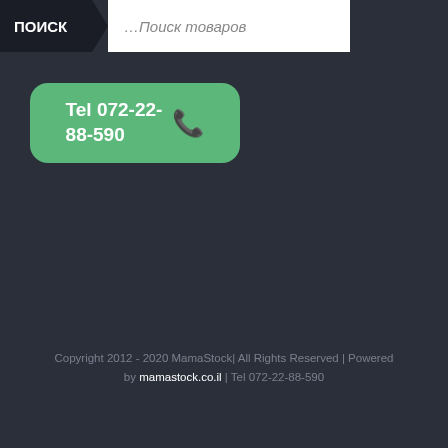ПОИСК ...Поиск товаров
Tel 072-22-88-590
Copyright 2012 - 2020 MamaStock| All Rights Reserved | Powered by mamastock.co.il | Tel 072-22-88-590